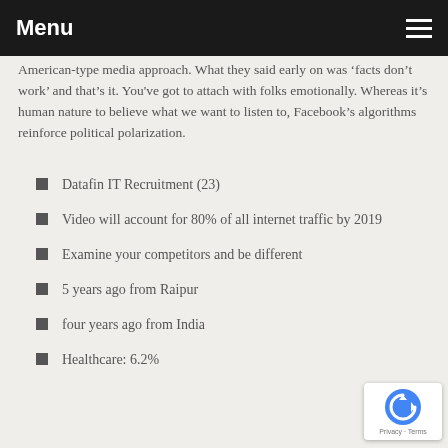Menu
American-type media approach. What they said early on was ‘facts don’t work’ and that’s it. You’ve got to attach with folks emotionally. Whereas it’s human nature to believe what we want to listen to, Facebook’s algorithms reinforce political polarization.
Datafin IT Recruitment (23)
Video will account for 80% of all internet traffic by 2019
Examine your competitors and be different
5 years ago from Raipur
four years ago from India
Healthcare: 6.2%